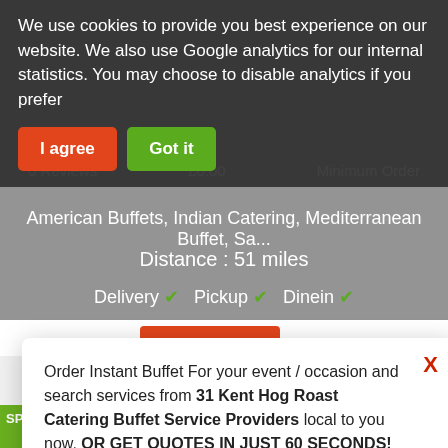We use cookies to provide you best experience on our website. We also use Google analytics for our internal statistics. You may choose to disable analytics if you prefer
I agree
Got it
0 Reviews    £0.00    Minimum Order
American Buffets, Indian Catering, Mediterranean Buffet, Sa...
Distance : 51 miles
Delivery ✓  Pickup ✓  Dinein ✓
Order Instant Buffet For your event / occasion and search services from 31 Kent Hog Roast Catering Buffet Service Providers local to you now. OR GET QUOTES IN JUST 60 SECONDS!
Search Now
Get Quotes